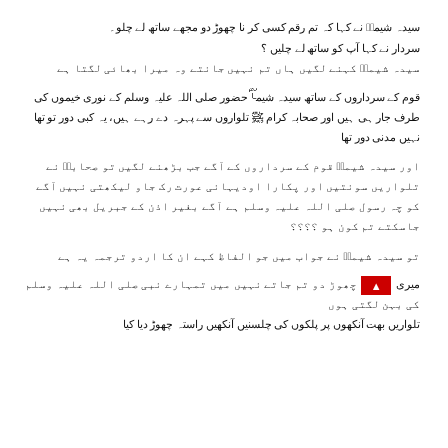سیدہ شیماؓ نے کہا کہ تم رقم کسی کر نا چھوڑ دو مجھے ساتھ لے چلو۔
سردار نے کہا آپ کو ساتھ لے چلیں ؟
سیدہ شیماؓ کہنے لگیں ہاں تم نہیں جانتے وہ میرا بھائی لگتا ہے
قوم کے سرداروں کے ساتھ سیدہ شیماؓ حضور صلی اللہ علیہ وسلم کے نوری خیموں کی طرف جار ہی ہیں اور صحابہ کرام ﷺ تلواروں سے پہرہ دے رہے ہیں، یہ کبی دور تو تھا نہیں مدنی دور تھا
اور سیدہ شیماؓ قوم کے سرداروں کے آگے جب بڑھنے لگیں تو صحابہؓ نے تلواریں سونتیں اور پکارا اودیہانی عورت رک جاو لیکھتی نہیں آگے کو چہ رسول صلی اللہ علیہ وسلم ہے آگے بغیر اذن کے جبریل بھی نہیں جاسکتے تم کون ہو ؟؟؟؟
تو سیدہ شیماؓ نے جواب میں جو الفاظ کہے ان کا اردو ترجمہ یہ ہے
میری ﷺ چھوڑ دو تم جاتے نہیں میں تمہارے نبی صلی اللہ علیہ وسلم کی بہن لگتی ہوں تلواریں بھت آنکھوں پر پلکوں کی چلسنیں آنکھیں راستہ چھوڑ دیا کیا